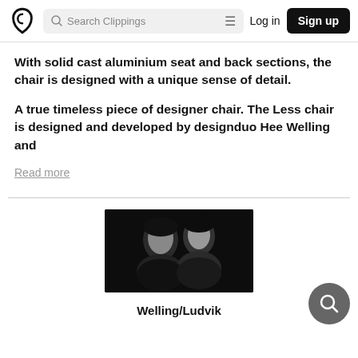Search Clippings | Log in | Sign up
With solid cast aluminium seat and back sections, the chair is designed with a unique sense of detail.
A true timeless piece of designer chair. The Less chair is designed and developed by designduo Hee Welling and
Read more
[Figure (photo): Black and white portrait photo of two men (Welling/Ludvik design duo) against a dark background]
Welling/Ludvik